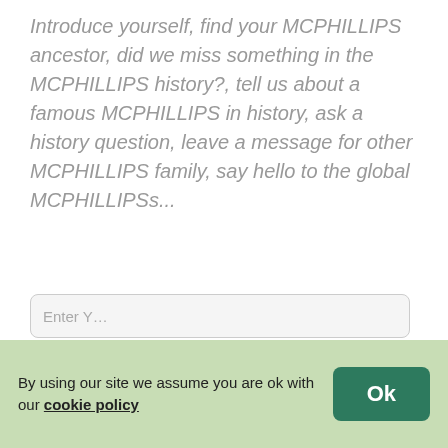Introduce yourself, find your MCPHILLIPS ancestor, did we miss something in the MCPHILLIPS history?, tell us about a famous MCPHILLIPS in history, ask a history question, leave a message for other MCPHILLIPS family, say hello to the global MCPHILLIPSs...
Schedule a MCPHILLIPS Video Meeting
Add to Your Post
By using our site we assume you are ok with our cookie policy
Ok